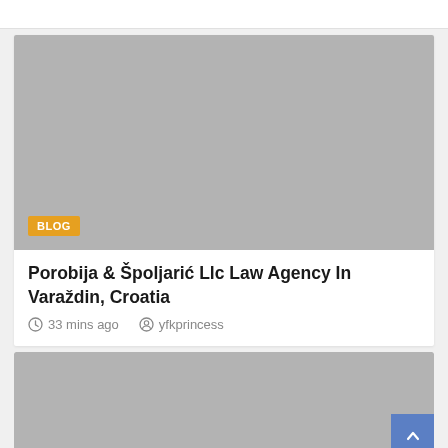[Figure (photo): Gray placeholder image for blog post with orange BLOG badge in lower left corner]
Porobija & Špoljarić Llc Law Agency In Varaždin, Croatia
33 mins ago   yfkprincess
[Figure (photo): Gray placeholder image for another blog post, partially visible at bottom of page]